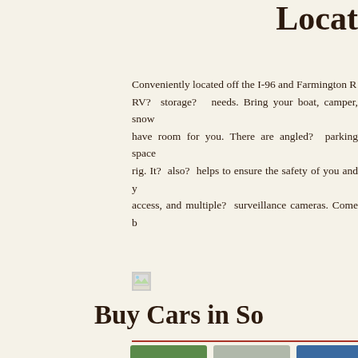Locat…
Conveniently located off the I-96 and Farmington R… RV? storage? needs. Bring your boat, camper, snow… have room for you. There are angled? parking space… rig. It? also? helps to ensure the safety of you and y… access, and multiple? surveillance cameras. Come b…
[Figure (photo): Broken/missing image placeholder]
Buy Cars in So…
[Figure (photo): Photo of blue classic muscle car with white stripes]
[Figure (photo): Photo of black SUV]
[Figure (photo): Photo of red classic car]